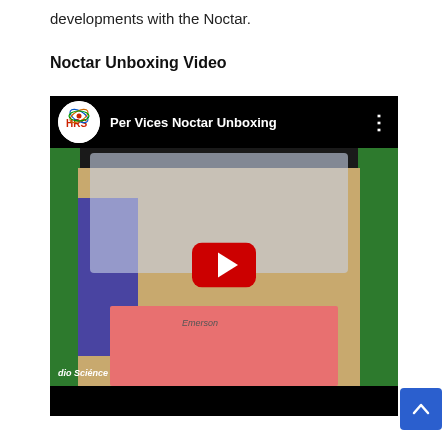developments with the Noctar.
Noctar Unboxing Video
[Figure (screenshot): YouTube embedded video player showing 'Per Vices Noctar Unboxing' with HRS channel logo, play button, and thumbnail of unboxing scene with green background, cardboard box, and pink foam padding. Text 'dio Science' visible bottom-left.]